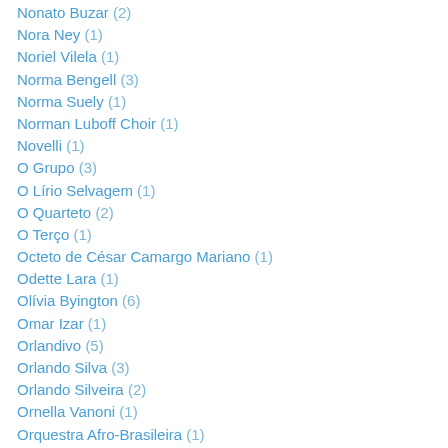Nonato Buzar (2)
Nora Ney (1)
Noriel Vilela (1)
Norma Bengell (3)
Norma Suely (1)
Norman Luboff Choir (1)
Novelli (1)
O Grupo (3)
O Lírio Selvagem (1)
O Quarteto (2)
O Terço (1)
Octeto de César Camargo Mariano (1)
Odette Lara (1)
Olívia Byington (6)
Omar Izar (1)
Orlandivo (5)
Orlando Silva (3)
Orlando Silveira (2)
Ornella Vanoni (1)
Orquestra Afro-Brasileira (1)